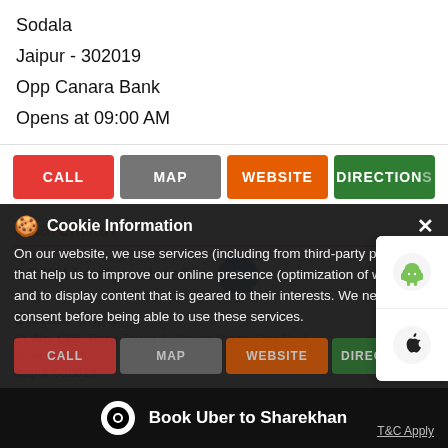Sodala
Jaipur - 302019
Opp Canara Bank
Opens at 09:00 AM
[Figure (screenshot): Action buttons row: CALL (red), MAP (grey), WEBSITE (orange), DIRECTIONS (green)]
Sharekhan
6.2 KM from your location
Shivani Gupta
St. No. C05, Rohit Tower 6, Airport Plaza, Plot No 4
Tonk Road
Jaipur 302019
Cookie Information
On our website, we use services (including from third-party providers) that help us to improve our online presence (optimization of website) and to display content that is geared to their interests. We need your consent before being able to use these services.
Book Uber to Sharekhan
T&C Apply